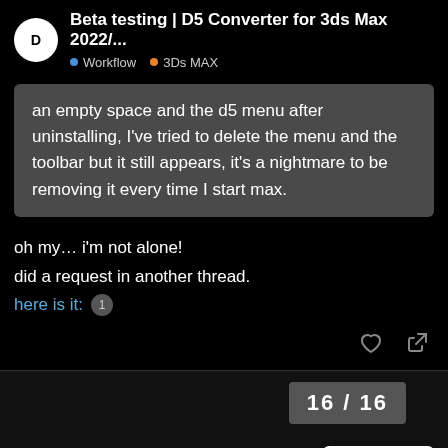Beta testing | D5 Converter for 3ds Max 2022/... • Workflow • 3Ds MAX
an empty space and the d5 menu after uninstalling, I've tried to delete the menu and the toolbar but it still appears, it's a nightmare to be removing it every time I start max.
oh my… i'm not alone!
did a request in another thread.
here is it: 1
16 / 16